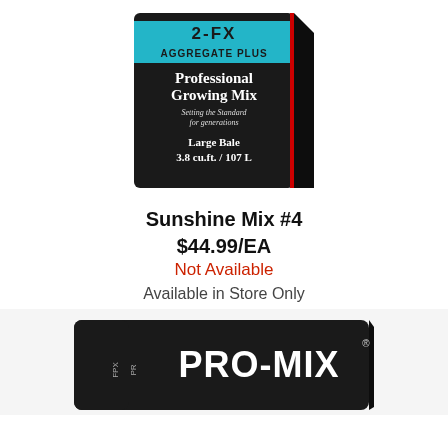[Figure (photo): Product photo of Sunshine Mix #4 Professional Growing Mix bag, black with teal accent stripe, Large Bale 3.8 cu.ft. / 107 L]
Sunshine Mix #4
$44.99/EA
Not Available
Available in Store Only
[Figure (photo): Product photo of PRO-MIX FPX bag, black with white PRO-MIX branding]